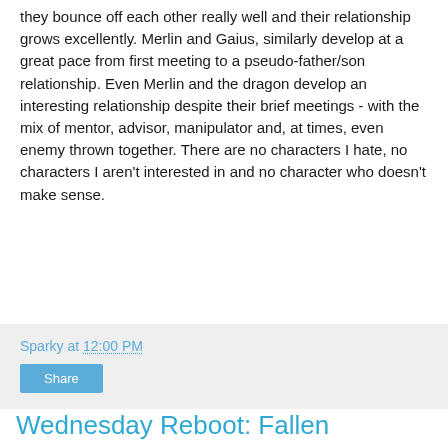they bounce off each other really well and their relationship grows excellently. Merlin and Gaius, similarly develop at a great pace from first meeting to a pseudo-father/son relationship. Even Merlin and the dragon develop an interesting relationship despite their brief meetings - with the mix of mentor, advisor, manipulator and, at times, even enemy thrown together. There are no characters I hate, no characters I aren't interested in and no character who doesn't make sense.
Sparky at 12:00 PM
Share
Wednesday Reboot: Fallen
[Figure (photo): Partial image visible at bottom of page, content not clearly identifiable]